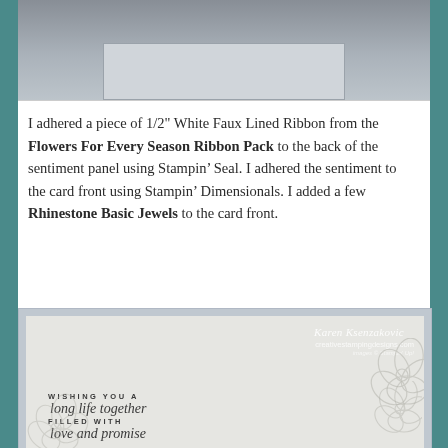[Figure (photo): Top portion of a handmade card showing a cream/beige card with decorative elements, partially cropped]
I adhered a piece of 1/2" White Faux Lined Ribbon from the Flowers For Every Season Ribbon Pack to the back of the sentiment panel using Stampin' Seal. I adhered the sentiment to the card front using Stampin' Dimensionals. I added a few Rhinestone Basic Jewels to the card front.
[Figure (photo): Photo of a handmade greeting card with floral outlines and sentiment text reading 'WISHING YOU A long life together FILLED WITH love and promise', with Karen Ksenzakovic and creativestampingdesigns.com watermark]